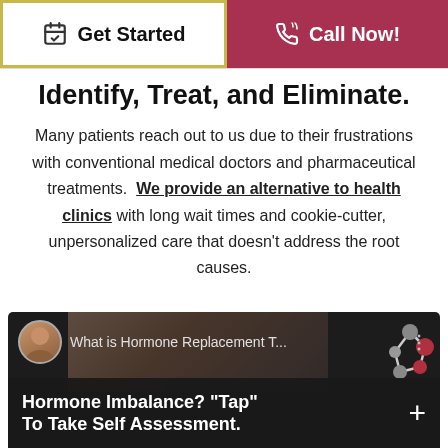[Figure (screenshot): Get Started button (calendar icon, golden border) and Call Now button (phone icon, dark red background) in a top navigation bar]
Identify, Treat, and Eliminate.
Many patients reach out to us due to their frustrations with conventional medical doctors and pharmaceutical treatments. We provide an alternative to health clinics with long wait times and cookie-cutter, unpersonalized care that doesn't address the root causes.
[Figure (screenshot): Video thumbnail showing hormone replacement therapy video with a woman presenter, avatar circle, title text 'What is Hormone Replacement T...', molecule graphic, and overlay text 'Hormone Imbalance? "Tap" + To Take Self Assessment.']